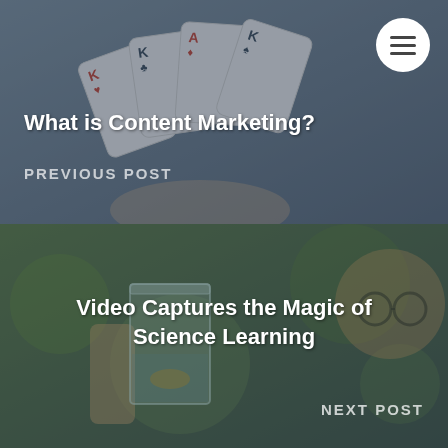[Figure (photo): Hand holding a fan of playing cards (Kings) against a grey-blue background — previous post banner image]
What is Content Marketing?
PREVIOUS POST
[Figure (photo): Child holding a clear plastic cup with a small creature inside, with a green bokeh background — next post banner image]
Video Captures the Magic of Science Learning
NEXT POST